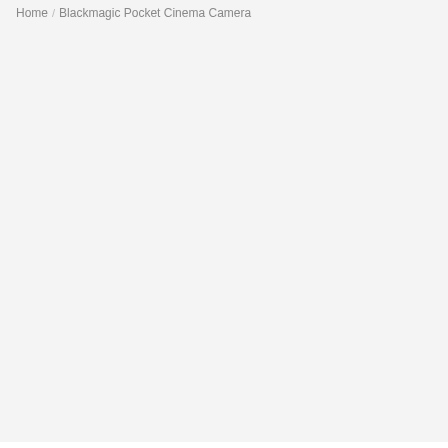Home / Blackmagic Pocket Cinema Camera